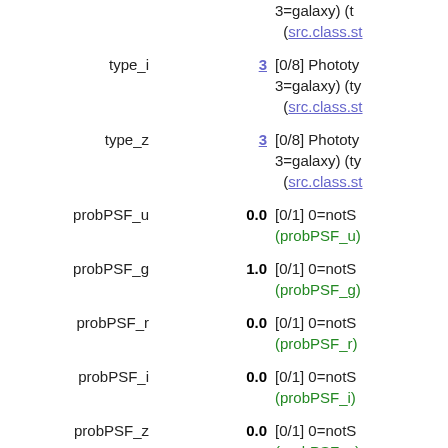| Name | Value | Description |
| --- | --- | --- |
| type_i | 3 | [0/8] Phototy 3=galaxy) (ty (src.class.st |
| type_z | 3 | [0/8] Phototy 3=galaxy) (ty (src.class.st |
| probPSF_u | 0.0 | [0/1] 0=notS (probPSF_u) |
| probPSF_g | 1.0 | [0/1] 0=notS (probPSF_g) |
| probPSF_r | 0.0 | [0/1] 0=notS (probPSF_r) |
| probPSF_i | 0.0 | [0/1] 0=notS (probPSF_i) |
| probPSF_z | 0.0 | [0/1] 0=notS (probPSF_z) |
| raErr | 0.028 arcsec | [0/51703] M (raErr) (stat.e |
| decErr | 0.028 arcsec | [0/22795] M (decErr) (sta |
| offsetRa_u | 0.01 arcsec | Offset of u p |